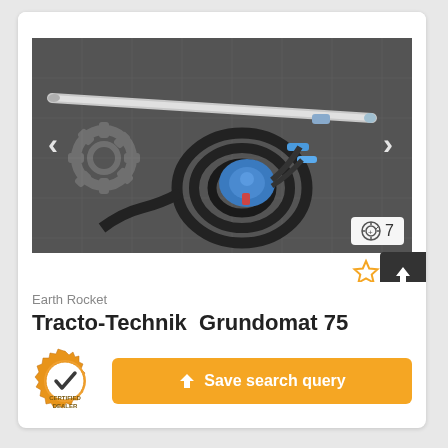[Figure (photo): Photo of a Tracto-Technik Grundomat 75 earth rocket / pneumatic soil displacement hammer, showing a long metal lance/probe and coiled black hydraulic hose with blue pneumatic unit, laid on tiled floor. Image carousel with left/right navigation arrows and photo count badge showing 7 images.]
Earth Rocket
Tracto-Technik  Grundomat 75
[Figure (logo): Certified Dealer badge: orange/gold gear-shaped badge with checkmark and text CERTIFIED DEALER]
Save search query